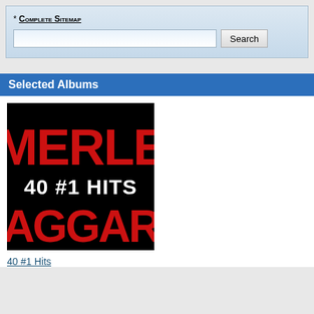* Complete Sitemap
Selected Albums
[Figure (illustration): Album cover for Merle Haggard 40 #1 Hits. Black background with large bold red text reading MERLE on top and HAGGARD on bottom, with white bold text in the middle reading 40 #1 HITS.]
40 #1 Hits